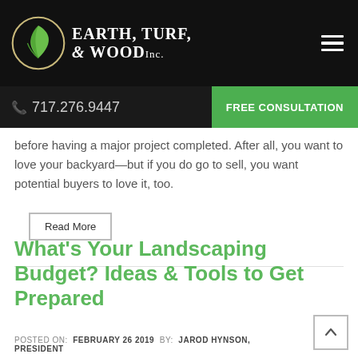Earth, Turf, & Wood Inc. — 717.276.9447 — FREE CONSULTATION
before having a major project completed. After all, you want to love your backyard—but if you do go to sell, you want potential buyers to love it, too.
Read More
What's Your Landscaping Budget? Ideas & Tools to Get Prepared
POSTED ON: FEBRUARY 26 2019  BY:  JAROD HYNSON, PRESIDENT